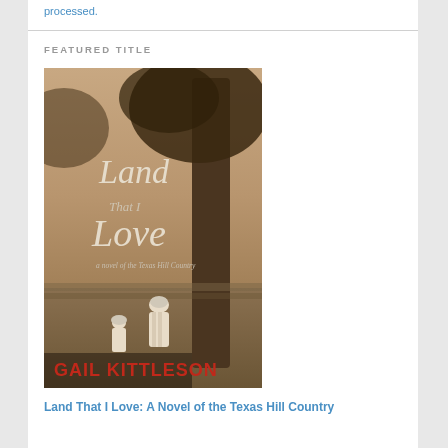processed.
FEATURED TITLE
[Figure (photo): Book cover of 'Land That I Love: A Novel of the Texas Hill Country' by Gail Kittleson. Sepia-toned photograph of two children standing by a large tree in a field. Title text overlaid on image.]
Land That I Love: A Novel of the Texas Hill Country